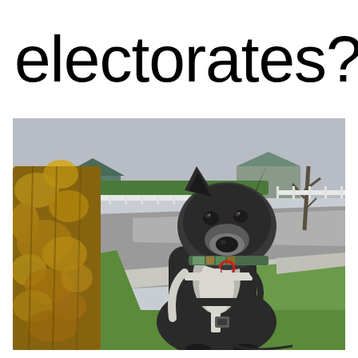electorates?
[Figure (photo): A dark brown/grey Staffordshire Bull Terrier or pit bull type dog wearing a white and black harness with a red ring tag and colorful collar, sitting on green grass next to a large tree trunk covered in orange-yellow lichen/moss. In the background is a suburban street with a grey road, white fence, green hedges, houses with dark roofs, bare trees, and overcast sky. The dog is looking directly at the camera with an alert, slightly skeptical expression.]